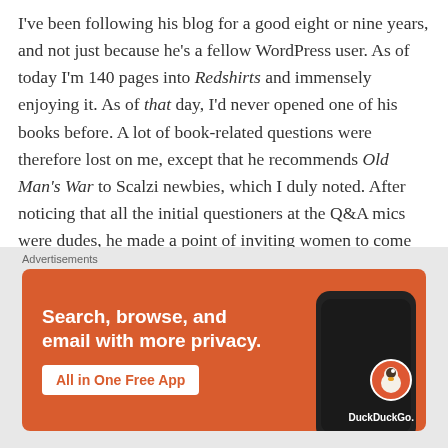I've been following his blog for a good eight or nine years, and not just because he's a fellow WordPress user. As of today I'm 140 pages into Redshirts and immensely enjoying it. As of that day, I'd never opened one of his books before. A lot of book-related questions were therefore lost on me, except that he recommends Old Man's War to Scalzi newbies, which I duly noted. After noticing that all the initial questioners at the Q&A mics were dudes, he made a point of inviting women to come up and ask questions as well, which drew a positive result.
Other topics included his ongoing predilection for grading his hate mail; Netflix's Love, Death + Robots, which has adapted a few of his short stories; an update on a potential Hollywood adaptation presently in negotiations (which drew a diplomati…
[Figure (infographic): DuckDuckGo advertisement banner on orange background. Text reads 'Search, browse, and email with more privacy. All in One Free App' with a DuckDuckGo branded phone mockup on the right side.]